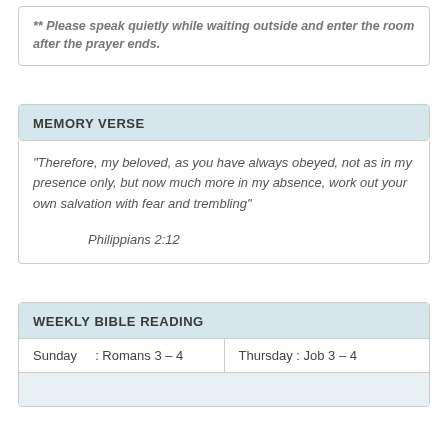** Please speak quietly while waiting outside and enter the room after the prayer ends.
MEMORY VERSE
“Therefore, my beloved, as you have always obeyed, not as in my presence only, but now much more in my absence, work out your own salvation with fear and trembling”
Philippians 2:12
WEEKLY BIBLE READING
| Sunday   : Romans 3 – 4 | Thursday : Job 3 – 4 |